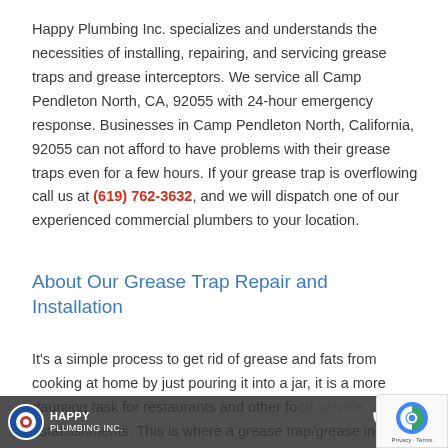Happy Plumbing Inc. specializes and understands the necessities of installing, repairing, and servicing grease traps and grease interceptors. We service all Camp Pendleton North, CA, 92055 with 24-hour emergency response. Businesses in Camp Pendleton North, California, 92055 can not afford to have problems with their grease traps even for a few hours. If your grease trap is overflowing call us at (619) 762-3632, and we will dispatch one of our experienced commercial plumbers to your location.
About Our Grease Trap Repair and Installation
It's a simple process to get rid of grease and fats from cooking at home by just pouring it into a jar, it is a more daunting task for restaurants and other food service establishments. This is where a grease trap/grease inceptor comes in handy. A grease trap is a plumbing